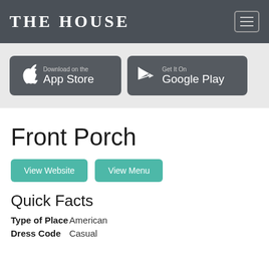THE HOUSE
[Figure (screenshot): App Store download button with Apple logo]
[Figure (screenshot): Google Play download button with Play logo]
Front Porch
View Website
View Menu
Quick Facts
Type of Place  American
Dress Code     Casual